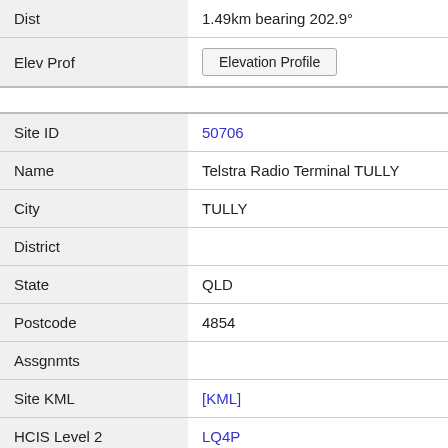| Field | Value |
| --- | --- |
| Dist | 1.49km bearing 202.9° |
| Elev Prof | [Elevation Profile button] |
| Site ID | 50706 |
| Name | Telstra Radio Terminal TULLY |
| City | TULLY |
| District |  |
| State | QLD |
| Postcode | 4854 |
| Assgnmts |  |
| Site KML | [KML] |
| HCIS Level 2 | LQ4P |
| Dist | 1.58km bearing 348.6° |
| Elev Prof | [Elevation Profile button] |
| Site ID | 9020271 |
| Name | Substation Jarra Creek Road TULLY |
| City | TULLY |